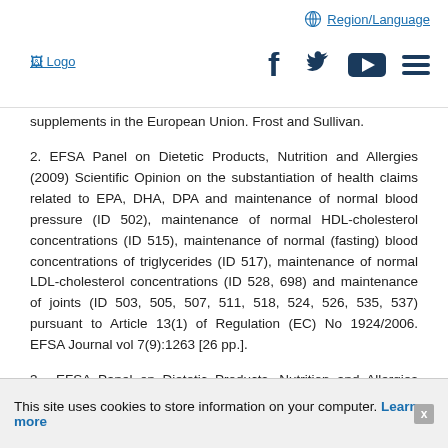Region/Language [nav with logo, social icons, hamburger menu]
supplements in the European Union. Frost and Sullivan.
2. EFSA Panel on Dietetic Products, Nutrition and Allergies (2009) Scientific Opinion on the substantiation of health claims related to EPA, DHA, DPA and maintenance of normal blood pressure (ID 502), maintenance of normal HDL-cholesterol concentrations (ID 515), maintenance of normal (fasting) blood concentrations of triglycerides (ID 517), maintenance of normal LDL-cholesterol concentrations (ID 528, 698) and maintenance of joints (ID 503, 505, 507, 511, 518, 524, 526, 535, 537) pursuant to Article 13(1) of Regulation (EC) No 1924/2006. EFSA Journal vol 7(9):1263 [26 pp.].
3.  EFSA Panel on Dietetic Products, Nutrition and Allergies (NDA) (2010)  Scientific Opinion on the substantiation of health claims related to eicosapentaenoic acid (EPA), docosahexaenoic acid (DHA), docosapentaenoic acid (DPA) and maintenance of
This site uses cookies to store information on your computer. Learn more  x